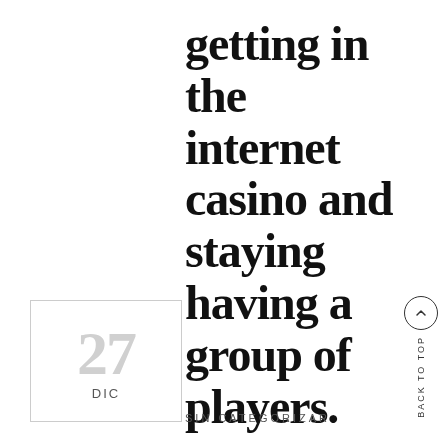getting in the internet casino and staying having a group of players.
27
DIC
SIN CATEGORIZAR
BACK TO TOP